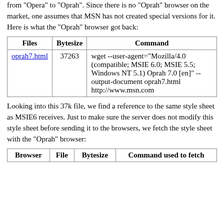from "Opera" to "Oprah". Since there is no "Oprah" browser on the market, one assumes that MSN has not created special versions for it. Here is what the "Oprah" browser got back:
| Files | Bytesize | Command |
| --- | --- | --- |
| oprah7.html | 37263 | wget --user-agent="Mozilla/4.0 (compatible; MSIE 6.0; MSIE 5.5; Windows NT 5.1) Oprah 7.0 [en]" --output-document oprah7.html http://www.msn.com |
Looking into this 37k file, we find a reference to the same style sheet as MSIE6 receives. Just to make sure the server does not modify this style sheet before sending it to the browsers, we fetch the style sheet with the "Oprah" browser:
| Browser | File | Bytesize | Command used to fetch |
| --- | --- | --- | --- |